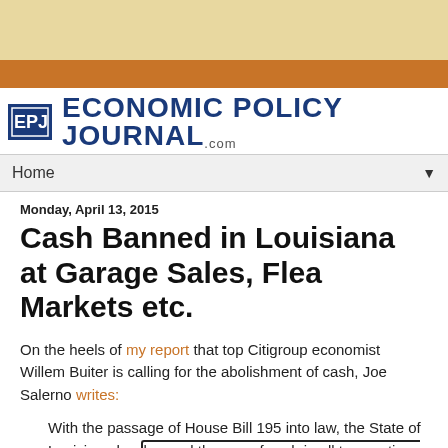[Figure (logo): Economic Policy Journal logo with EPJ icon and bold blue text, .com suffix]
Home
Monday, April 13, 2015
Cash Banned in Louisiana at Garage Sales, Flea Markets etc.
On the heels of my report that top Citigroup economist Willem Buiter is calling for the abolishment of cash, Joe Salerno writes:
With the passage of House Bill 195 into law, the State of Louisiana has banned the use of cash in all transactions involving secondhand goods. State representative Ricky Hardy, a co-author of the bill,